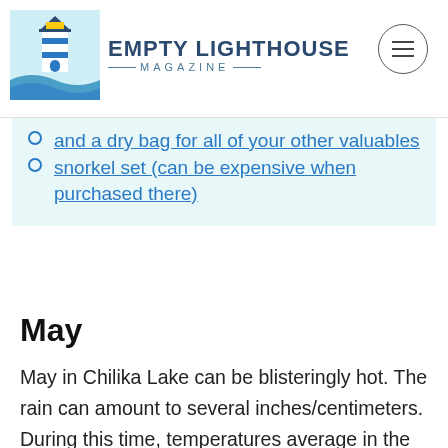Empty Lighthouse Magazine
and a dry bag for all of your other valuables
snorkel set (can be expensive when purchased there)
May
May in Chilika Lake can be blisteringly hot. The rain can amount to several inches/centimeters. During this time, temperatures average in the 90s F (mid 30s C).